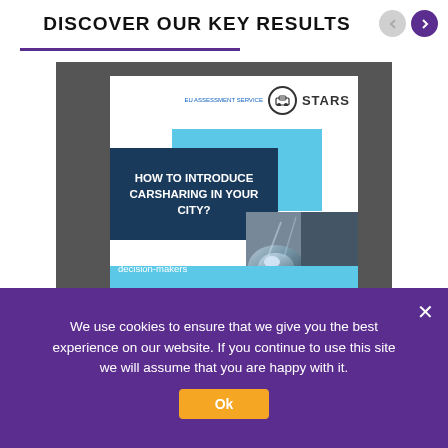DISCOVER OUR KEY RESULTS
[Figure (illustration): Screenshot of a webpage showing a book cover titled 'HOW TO INTRODUCE CARSHARING IN YOUR CITY? A toolbox for decision-makers' with the STARS logo, displayed as a carousel slide with navigation arrows.]
We use cookies to ensure that we give you the best experience on our website. If you continue to use this site we will assume that you are happy with it.